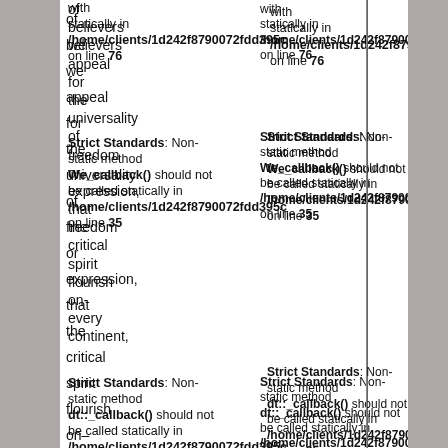Strict Standards: Non-static method dt::signature() should not be called statically in /home/clients/1d242f8790072fdd395c on line 76
with statically in /home/clients/1d242f8790072fdd395c on line 76
of believers we appeal for the universality of freedom or expression, that the critical spirit flourish on every continent,
Strict Standards: Non-static method We_callback() should not be called statically in /home/clients/1d242f8790072fdd395c on line 35
Strict Standards: Non-static method dt::_callback() should not be called statically in /home/clients/1d242f8790072fdd395c on line 35
Strict Standards: Non-static method dt::str() should not be called statically in /home/clients/1d242f8790072fdd395c on line 76
Strict Standards: Non-static method dt::_callback() should not be called statically in /home/clients/1d242f8790072fdd395c on line 35